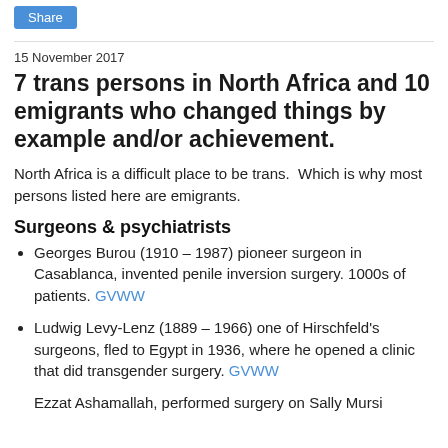Share
15 November 2017
7 trans persons in North Africa and 10 emigrants who changed things by example and/or achievement.
North Africa is a difficult place to be trans.  Which is why most persons listed here are emigrants.
Surgeons & psychiatrists
Georges Burou (1910 – 1987) pioneer surgeon in Casablanca, invented penile inversion surgery. 1000s of patients. GVWW
Ludwig Levy-Lenz (1889 – 1966) one of Hirschfeld's surgeons, fled to Egypt in 1936, where he opened a clinic that did transgender surgery. GVWW
Ezzat Ashamallah, performed surgery on Sally Mursi